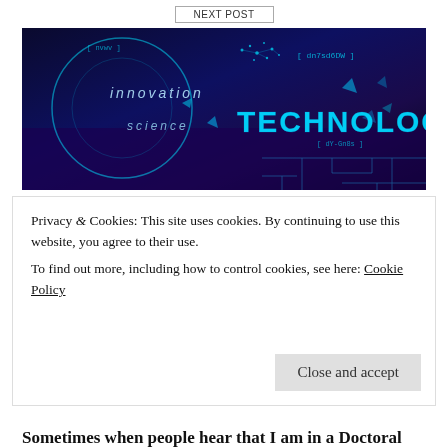[Figure (illustration): Technology banner image with dark blue/purple background featuring words 'innovation', 'science', 'TECHNOLOGY' in glowing cyan/teal text, with futuristic circuit and network graphics]
Privacy & Cookies: This site uses cookies. By continuing to use this website, you agree to their use.
To find out more, including how to control cookies, see here: Cookie Policy
Close and accept
Sometimes when people hear that I am in a Doctoral